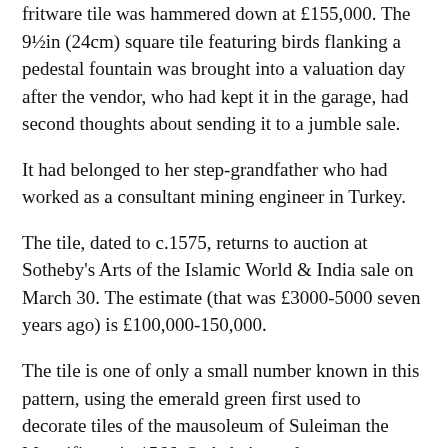fritware tile was hammered down at £155,000. The 9½in (24cm) square tile featuring birds flanking a pedestal fountain was brought into a valuation day after the vendor, who had kept it in the garage, had second thoughts about sending it to a jumble sale.
It had belonged to her step-grandfather who had worked as a consultant mining engineer in Turkey.
The tile, dated to c.1575, returns to auction at Sotheby's Arts of the Islamic World & India sale on March 30. The estimate (that was £3000-5000 seven years ago) is £100,000-150,000.
The tile is one of only a small number known in this pattern, using the emerald green first used to decorate tiles of the mausoleum of Suleiman the Magnificent in 1566. Sotheby's cataloguer references seven other intact examples, all now housed in museum collections.
sothebys.com